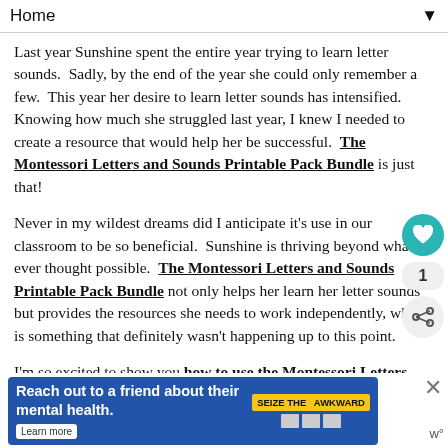Home
Last year Sunshine spent the entire year trying to learn letter sounds.  Sadly, by the end of the year she could only remember a few.  This year her desire to learn letter sounds has intensified.  Knowing how much she struggled last year, I knew I needed to create a resource that would help her be successful.  The Montessori Letters and Sounds Printable Pack Bundle is just that!
Never in my wildest dreams did I anticipate it's use in our classroom to be so beneficial.  Sunshine is thriving beyond what I ever thought possible.  The Montessori Letters and Sounds Printable Pack Bundle not only helps her learn her letter sounds but provides the resources she needs to work independently, which is something that definitely wasn't happening up to this point.
I'm so excited to show you how to use the Montessori Letters and Sounds Bundle!
[Figure (infographic): Advertisement banner: 'Reach out to a friend about their mental health. Learn more' with 'SEIZE THE AWKWARD' yellow badge and health organization logos]